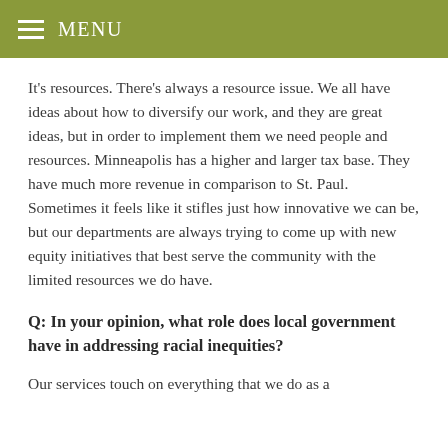MENU
It's resources. There's always a resource issue. We all have ideas about how to diversify our work, and they are great ideas, but in order to implement them we need people and resources. Minneapolis has a higher and larger tax base. They have much more revenue in comparison to St. Paul. Sometimes it feels like it stifles just how innovative we can be, but our departments are always trying to come up with new equity initiatives that best serve the community with the limited resources we do have.
Q: In your opinion, what role does local government have in addressing racial inequities?
Our services touch on everything that we do as a